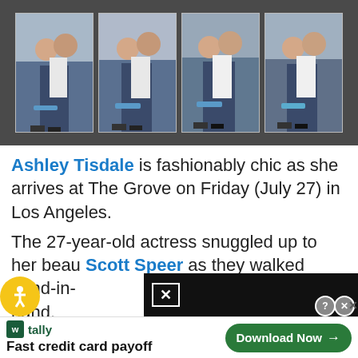[Figure (photo): Four paparazzi photos in a strip showing a man and woman walking together at The Grove shopping center. The woman carries a blue handbag. Dark gray background behind the photos.]
Ashley Tisdale is fashionably chic as she arrives at The Grove on Friday (July 27) in Los Angeles.
The 27-year-old actress snuggled up to her beau Scott Speer as they walked hand-in-hand.
[Figure (screenshot): Advertisement overlay: Tally app ad at bottom - Fast credit card payoff with Download Now button. Black overlay ad with close X button. Yellow accessibility icon bottom left.]